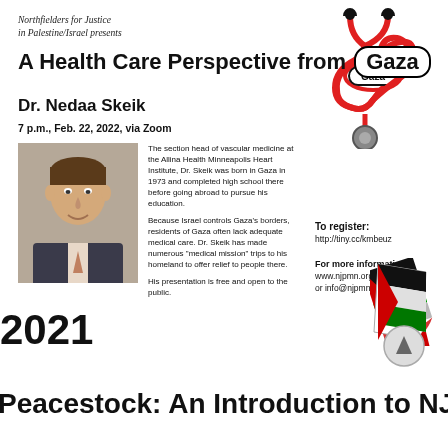Northfielders for Justice
in Palestine/Israel presents
A Health Care Perspective from Gaza
[Figure (illustration): Red stethoscope shaped into a heart, with 'Gaza' text in a rounded rectangle label on the cord]
Dr. Nedaa Skeik
7 p.m., Feb. 22, 2022, via Zoom
[Figure (photo): Head and shoulders photo of Dr. Nedaa Skeik, a man in a suit and tie, smiling]
The section head of vascular medicine at the Allina Health Minneapolis Heart Institute, Dr. Skeik was born in Gaza in 1973 and completed high school there before going abroad to pursue his education.

Because Israel controls Gaza's borders, residents of Gaza often lack adequate medical care. Dr. Skeik has made numerous "medical mission" trips to his homeland to offer relief to people there.

His presentation is free and open to the public.
To register:
http://tiny.cc/kmbeuz

For more information:
www.njpmn.org
or info@njpmn.org.
[Figure (illustration): Palestinian flag illustrated as a waving paper shape with red, black, white, and green colors]
2021
[Figure (other): Circular arrow/navigation button with upward arrow icon]
Peacestock: An Introduction to NJP/I